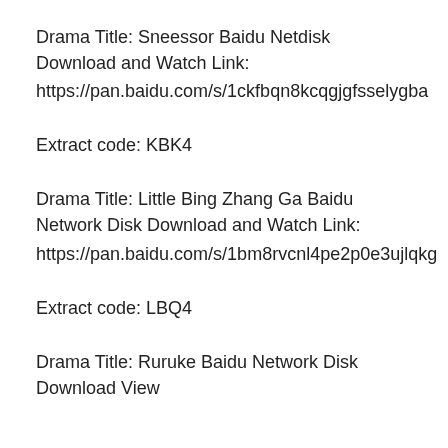Drama Title: Sneessor Baidu Netdisk Download and Watch Link:
https://pan.baidu.com/s/1ckfbqn8kcqgjgfsselygba
Extract code: KBK4
Drama Title: Little Bing Zhang Ga Baidu Network Disk Download and Watch Link:
https://pan.baidu.com/s/1bm8rvcnl4pe2p0e3ujlqkg
Extract code: LBQ4
Drama Title: Ruruke Baidu Network Disk Download View